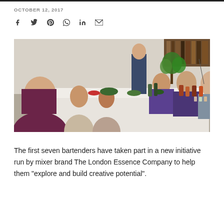OCTOBER 12, 2017
[Figure (photo): Group of bartenders and people seated around a long table covered with a white tablecloth, with various bottles, glasses, herbs, fruits and ingredients spread across the table. A standing person is visible in the background. The setting appears to be an indoor workshop or tasting event.]
The first seven bartenders have taken part in a new initiative run by mixer brand The London Essence Company to help them “explore and build creative potential”.